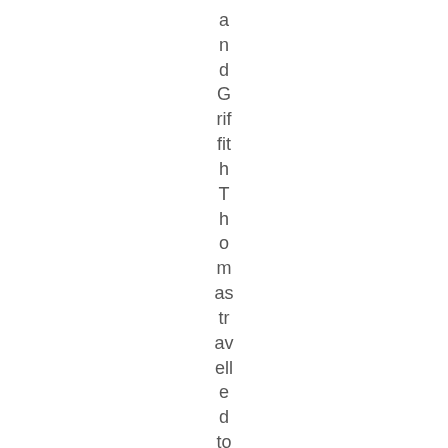and Griffith Thomas travelled to the Far East[18] and